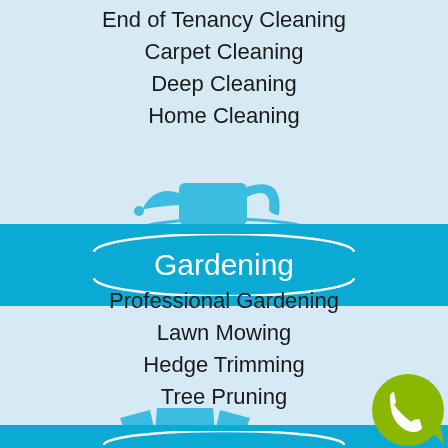End of Tenancy Cleaning
Carpet Cleaning
Deep Cleaning
Home Cleaning
[Figure (illustration): Blue watering can icon used as section divider for Gardening category]
Gardening
Professional Gardening
Lawn Mowing
Hedge Trimming
Tree Pruning
[Figure (illustration): Blue open cardboard box icon used as section divider for Relocation category]
Relocation
[Figure (illustration): Green circular phone/call button in bottom right corner]